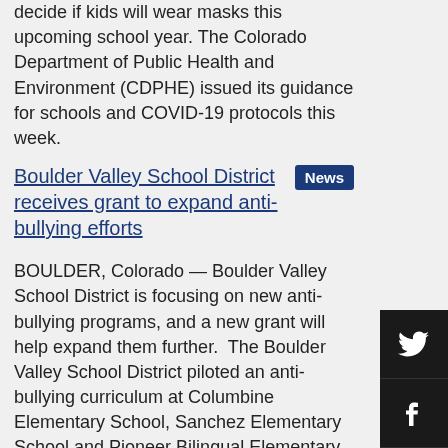decide if kids will wear masks this upcoming school year. The Colorado Department of Public Health and Environment (CDPHE) issued its guidance for schools and COVID-19 protocols this week.
Boulder Valley School District receives grant to expand anti-bullying efforts
BOULDER, Colorado — Boulder Valley School District is focusing on new anti-bullying programs, and a new grant will help expand them further.  The Boulder Valley School District piloted an anti-bullying curriculum at Columbine Elementary School, Sanchez Elementary School and Pioneer Bilingual Elementary School.
Colorado school safety agency launches statewide plan for dealing with school shootings
Colorado's top school-safety agency has launched a plan designed to help schools prepare for and respond to large-scale emergencies, particularly shooting threats.